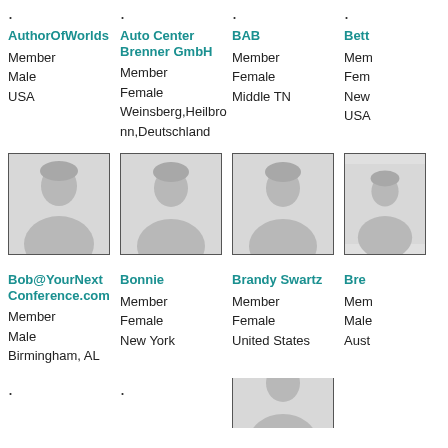AuthorOfWorlds
Member
Male
USA
Auto Center Brenner GmbH
Member
Female
Weinsberg,Heilbronn,Deutschland
BAB
Member
Female
Middle TN
Bett...
Member
Female
New...
USA
[Figure (photo): Default avatar silhouette placeholder image for Bob@YourNextConference.com]
[Figure (photo): Default avatar silhouette placeholder image for Bonnie]
[Figure (photo): Default avatar silhouette placeholder image for Brandy Swartz]
[Figure (photo): Default avatar silhouette placeholder image (partially visible, 4th column)]
Bob@YourNextConference.com
Member
Male
Birmingham, AL
Bonnie
Member
Female
New York
Brandy Swartz
Member
Female
United States
Bre...
Member
Male
Aust...
[Figure (photo): Default avatar silhouette placeholder image (bottom row, 3rd column, partially visible)]